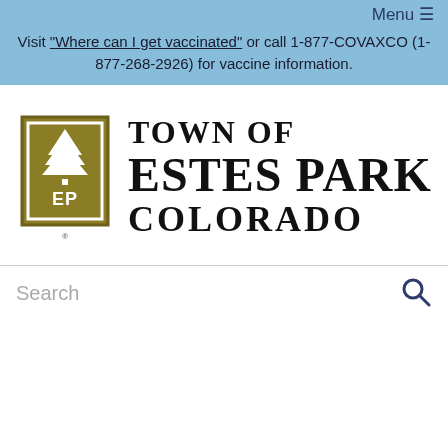Menu ≡
Visit "Where can I get vaccinated" or call 1-877-COVAXCO (1-877-268-2926) for vaccine information.
[Figure (logo): Town of Estes Park Colorado logo — olive/dark yellow rectangle with a pine tree above 'EP' letters, followed by text 'TOWN OF ESTES PARK COLORADO']
Search